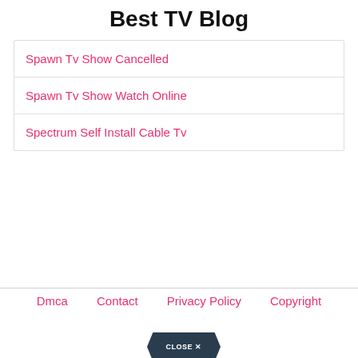Best TV Blog
Spawn Tv Show Cancelled
Spawn Tv Show Watch Online
Spectrum Self Install Cable Tv
Dmca   Contact   Privacy Policy   Copyright